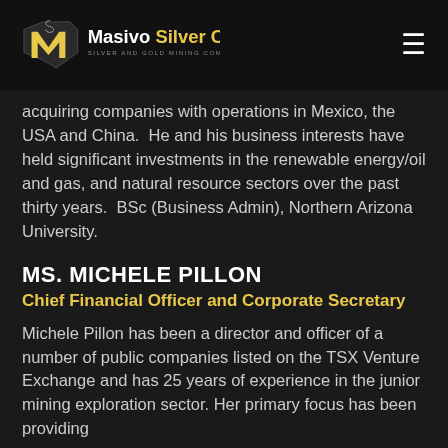Masivo Silver Corp. — Silver and Gold Mining Company
acquiring companies with operations in Mexico, the USA and China.  He and his business interests have held significant investments in the renewable energy/oil and gas, and natural resource sectors over the past thirty years.  BSc (Business Admin), Northern Arizona University.
MS. MICHELE PILLON
Chief Financial Officer and Corporate Secretary
Michele Pillon has been a director and officer of a number of public companies listed on the TSX Venture Exchange and has 25 years of experience in the junior mining exploration sector. Her primary focus has been providing